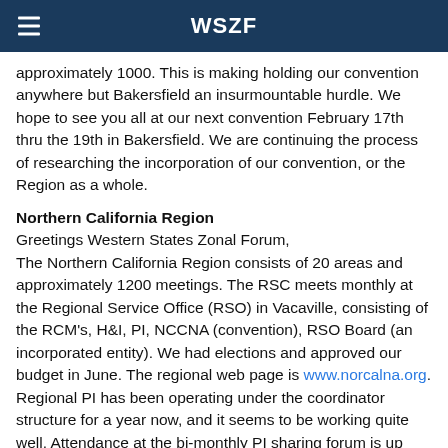WSZF
approximately 1000. This is making holding our convention anywhere but Bakersfield an insurmountable hurdle. We hope to see you all at our next convention February 17th thru the 19th in Bakersfield. We are continuing the process of researching the incorporation of our convention, or the Region as a whole.
Northern California Region
Greetings Western States Zonal Forum,
The Northern California Region consists of 20 areas and approximately 1200 meetings. The RSC meets monthly at the Regional Service Office (RSO) in Vacaville, consisting of the RCM's, H&I, PI, NCCNA (convention), RSO Board (an incorporated entity). We had elections and approved our budget in June. The regional web page is www.norcalna.org.
Regional PI has been operating under the coordinator structure for a year now, and it seems to be working quite well. Attendance at the bi-monthly PI sharing forum is up and the time that is being saved by not being bogged down with business is filled with PI informational